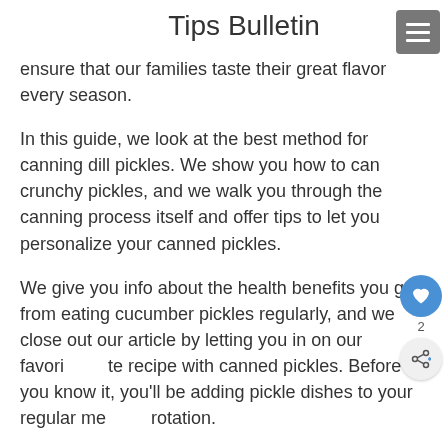Tips Bulletin
ensure that our families taste their great flavor every season.
In this guide, we look at the best method for canning dill pickles. We show you how to can crunchy pickles, and we walk you through the canning process itself and offer tips to let you personalize your canned pickles.
We give you info about the health benefits you get from eating cucumber pickles regularly, and we close out our article by letting you in on our favorite recipe with canned pickles. Before you know it, you'll be adding pickle dishes to your regular meal rotation.